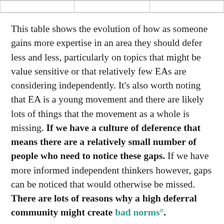|  |  |  |
| --- | --- | --- |
|  |  |  |
This table shows the evolution of how as someone gains more expertise in an area they should defer less and less, particularly on topics that might be value sensitive or that relatively few EAs are considering independently. It's also worth noting that EA is a young movement and there are likely lots of things that the movement as a whole is missing. If we have a culture of deference that means there are a relatively small number of people who need to notice these gaps. If we have more informed independent thinkers however, gaps can be noticed that would otherwise be missed. There are lots of reasons why a high deferral community might create bad norms°.
Overall I think EA would benefit from a more spectrum